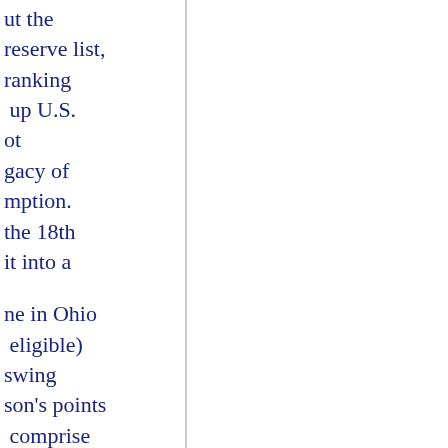ut the reserve list, ranking up U.S. ot gacy of mption. the 18th it into a
ne in Ohio eligible) swing son's points comprise oot. g back at . We e for the Amateur ailable ritish Open op 10 will
oney